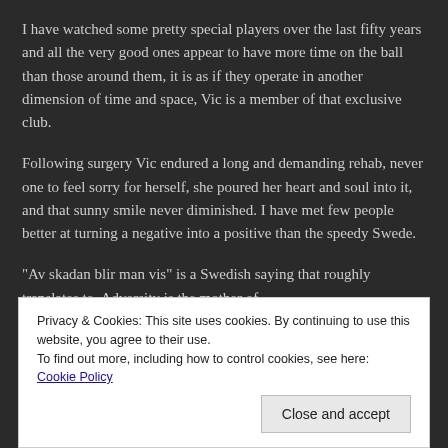I have watched some pretty special players over the last fifty years and all the very good ones appear to have more time on the ball than those around them, it is as if they operate in another dimension of time and space, Vic is a member of that exclusive club.
Following surgery Vic endured a long and demanding rehab, never one to feel sorry for herself, she poured her heart and soul into it, and that sunny smile never diminished. I have met few people better at turning a negative into a positive than the speedy Swede.
“Av skadan blir man vis” is a Swedish saying that roughly translates to, Adversity is the mother of
Privacy & Cookies: This site uses cookies. By continuing to use this website, you agree to their use.
To find out more, including how to control cookies, see here: Cookie Policy
Close and accept
Swedes often say “Borta bra men hemma bäst” which